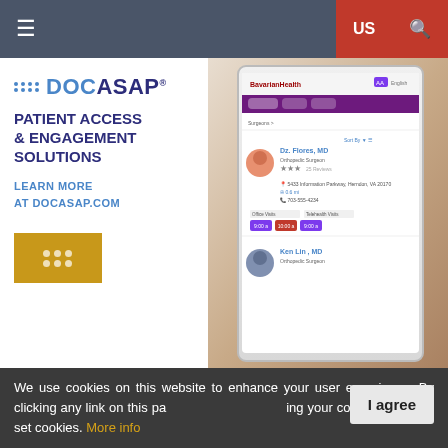Navigation bar with hamburger menu, US region selector, and search icon
[Figure (screenshot): DOCASAP advertisement banner showing Patient Access & Engagement Solutions with a tablet displaying a doctor search interface. Text: DOCASAP - PATIENT ACCESS & ENGAGEMENT SOLUTIONS - LEARN MORE AT DOCASAP.COM]
Read Also
We use cookies on this website to enhance your user experience. By clicking any link on this page you are giving your consent for us to set cookies. More info